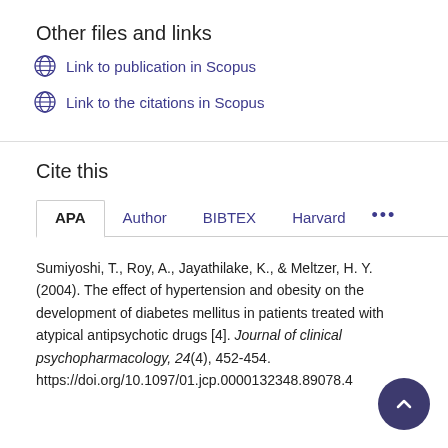Other files and links
Link to publication in Scopus
Link to the citations in Scopus
Cite this
APA | Author | BIBTEX | Harvard | ...
Sumiyoshi, T., Roy, A., Jayathilake, K., & Meltzer, H. Y. (2004). The effect of hypertension and obesity on the development of diabetes mellitus in patients treated with atypical antipsychotic drugs [4]. Journal of clinical psychopharmacology, 24(4), 452-454. https://doi.org/10.1097/01.jcp.0000132348.89078.4